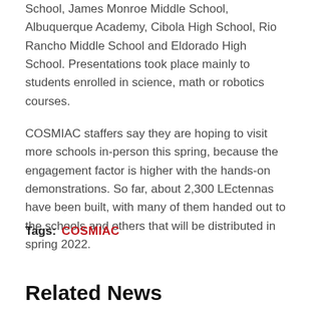School, James Monroe Middle School, Albuquerque Academy, Cibola High School, Rio Rancho Middle School and Eldorado High School. Presentations took place mainly to students enrolled in science, math or robotics courses.
COSMIAC staffers say they are hoping to visit more schools in-person this spring, because the engagement factor is higher with the hands-on demonstrations. So far, about 2,300 LEctennas have been built, with many of them handed out to the schools and others that will be distributed in spring 2022.
Tags: COSMIAC
Related News